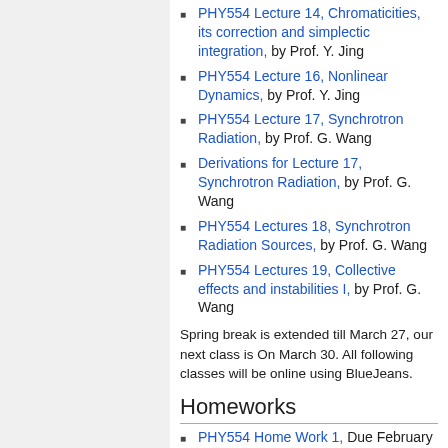PHY554 Lecture 14, Chromaticities, its correction and simplectic integration, by Prof. Y. Jing
PHY554 Lecture 16, Nonlinear Dynamics, by Prof. Y. Jing
PHY554 Lecture 17, Synchrotron Radiation, by Prof. G. Wang
Derivations for Lecture 17, Synchrotron Radiation, by Prof. G. Wang
PHY554 Lectures 18, Synchrotron Radiation Sources, by Prof. G. Wang
PHY554 Lectures 19, Collective effects and instabilities I, by Prof. G. Wang
Spring break is extended till March 27, our next class is On March 30. All following classes will be online using BlueJeans.
Homeworks
PHY554 Home Work 1, Due February 5: Solutions
PHY554 Home Work 2, Due February 10: Solutions